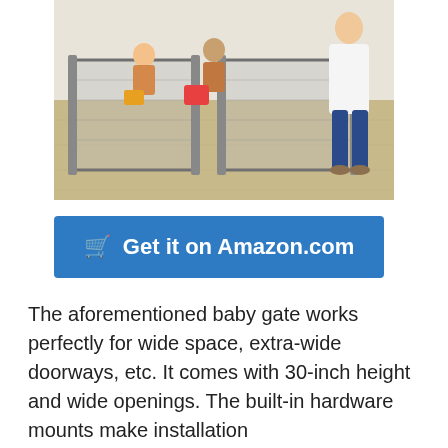[Figure (photo): A woman standing next to a large grey fabric baby gate/play yard enclosure set up in a living room. Two children are visible inside the enclosure playing with toys.]
🛒 Get it on Amazon.com
The aforementioned baby gate works perfectly for wide space, extra-wide doorways, etc. It comes with 30-inch height and wide openings. The built-in hardware mounts make installation